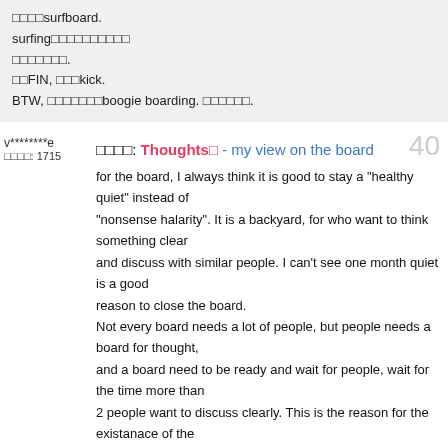□□□□surfboard.
surfing□□□□□□□□□□
□□□□□□□.
□□FIN, □□□kick.
BTW, □□□□□□□boogie boarding. □□□□□□.
v********e
□□□□: 1715
□□□□: Thoughts□ - my view on the board   40
for the board, I always think it is good to stay a "healthy quiet" instead of
"nonsense halarity". It is a backyard, for who want to think something clear
and discuss with similar people. I can't see one month quiet is a good
reason to close the board.
Not every board needs a lot of people, but people needs a
board for thought,
and a board need to be ready and wait for people, wait for the time more than
2 people want to discuss clearly. This is the reason for the existanace of the
board.
A t